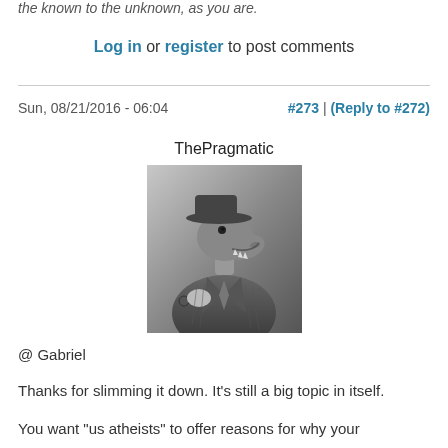the known to the unknown, as you are.
Log in or register to post comments
Sun, 08/21/2016 - 06:04
#273 | (Reply to #272)
ThePragmatic
[Figure (photo): Black and white photo of a dinosaur (raptor) dressed in a suit, wearing a hat and holding a pipe, styled as a vintage portrait.]
@ Gabriel
Thanks for slimming it down. It's still a big topic in itself.
You want "us atheists" to offer reasons for why your